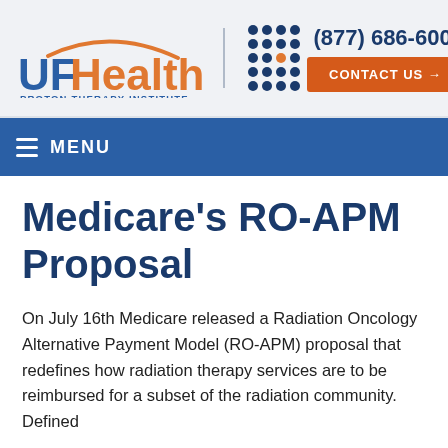[Figure (logo): UF Health Proton Therapy Institute logo with orange arc, blue UF Health text, dot grid, phone number (877) 686-6009, and orange Contact Us button]
≡ MENU
Medicare's RO-APM Proposal
On July 16th Medicare released a Radiation Oncology Alternative Payment Model (RO-APM) proposal that redefines how radiation therapy services are to be reimbursed for a subset of the radiation community. Defined